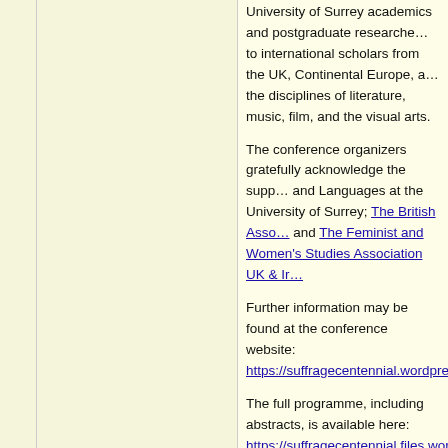University of Surrey academics and postgraduate researchers to international scholars from the UK, Continental Europe, and the disciplines of literature, music, film, and the visual arts.
The conference organizers gratefully acknowledge the support and Languages at the University of Surrey; The British Association and The Feminist and Women's Studies Association UK & Ireland.
Further information may be found at the conference website: https://suffragecentennial.wordpress.com/
The full programme, including abstracts, is available here: https://suffragecentennial.files.wordpress.com/2018/06/programme-2018.pdf
[Figure (photo): Conference attendees seated in tiered auditorium-style seating, talking and networking in a large hall with blue acoustic panels on the walls.]